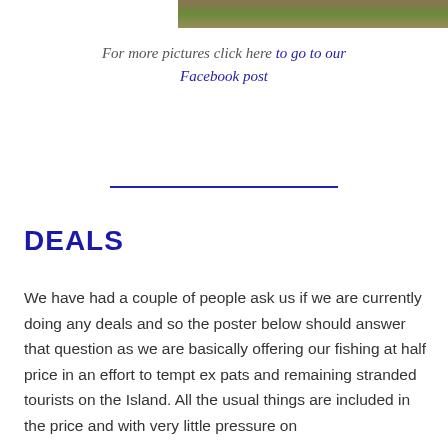[Figure (photo): Partial image of grass/nature scene at top of page]
For more pictures click here to go to our Facebook post
DEALS
We have had a couple of people ask us if we are currently doing any deals and so the poster below should answer that question as we are basically offering our fishing at half price in an effort to tempt ex pats and remaining stranded tourists on the Island. All the usual things are included in the price and with very little pressure on